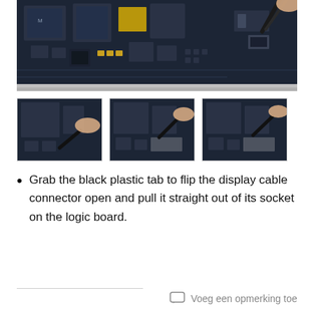[Figure (photo): Close-up photo of a MacBook logic board with computer chips and components, tweezers visible at top right corner.]
[Figure (photo): Three thumbnail photos showing steps to disconnect display cable connector from logic board using a spudger/tool.]
Grab the black plastic tab to flip the display cable connector open and pull it straight out of its socket on the logic board.
Voeg een opmerking toe